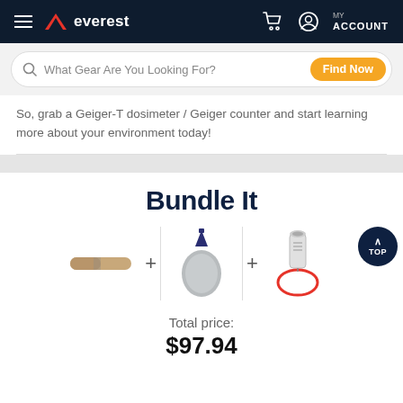everest — hamburger menu, cart, MY ACCOUNT
What Gear Are You Looking For? Find Now
So, grab a Geiger-T dosimeter / Geiger counter and start learning more about your environment today!
Bundle It
[Figure (infographic): Bundle items row: product 1 (pill-shaped item) + product 2 (gray buoy with dark blue cap) + product 3 (cylindrical device with red loop wire). A dark blue circular TOP button on the right.]
Total price:
$97.94